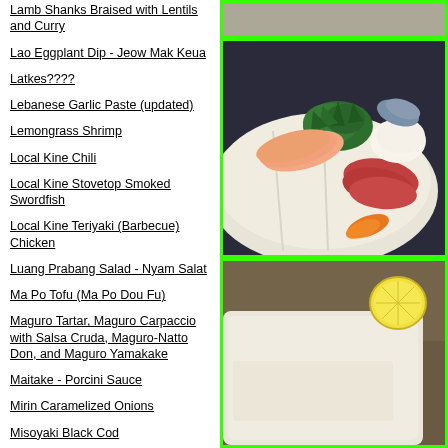Lamb Shanks Braised with Lentils and Curry
Lao Eggplant Dip - Jeow Mak Keua
Latkes????
Lebanese Garlic Paste (updated)
Lemongrass Shrimp
Local Kine Chili
Local Kine Stovetop Smoked Swordfish
Local Kine Teriyaki (Barbecue) Chicken
Luang Prabang Salad - Nyam Salat
Ma Po Tofu (Ma Po Dou Fu)
Maguro Tartar, Maguro Carpaccio with Salsa Cruda, Maguro-Natto Don, and Maguro Yamakake
Maitake - Porcini Sauce
Mirin Caramelized Onions
Misoyaki Black Cod
Mock "Eel" in Sweet and Sour Sauce
[Figure (photo): Top partial photo of sashimi dish]
[Figure (photo): Sashimi platter with various fish slices, salmon, tuna, and white fish on a white ceramic plate with green garnish and orange carrot, on a dark patterned background]
[Figure (photo): Bottom partial photo of Japanese dish with lemon slice on white ceramic]